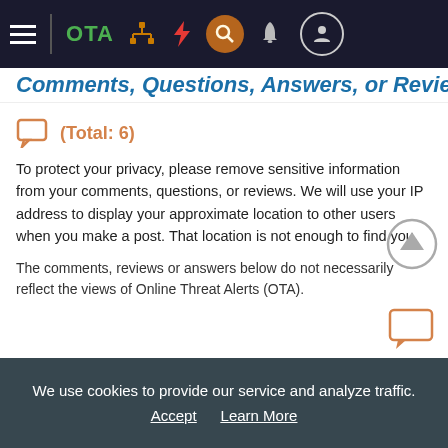OTA navigation bar with hamburger menu, OTA logo, tree icon, bolt icon, search icon, bell icon, user icon
Comments, Questions, Answers, or Reviews
(Total: 6)
To protect your privacy, please remove sensitive information from your comments, questions, or reviews. We will use your IP address to display your approximate location to other users when you make a post. That location is not enough to find you.
The comments, reviews or answers below do not necessarily reflect the views of Online Threat Alerts (OTA).
April 21, 2018 at 6:16 PM by an anonymous user from: Irvine, California,
We use cookies to provide our service and analyze traffic. Accept  Learn More